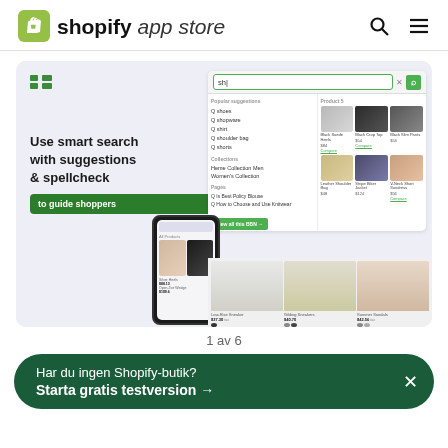shopify app store
[Figure (screenshot): Shopify app store screenshot showing a smart search interface with suggestions, spellcheck, product grid, and mobile mockup. Text reads: Use smart search with suggestions & spellcheck to guide shoppers.]
1 av 6
Har du ingen Shopify-butik? Starta gratis testversion →